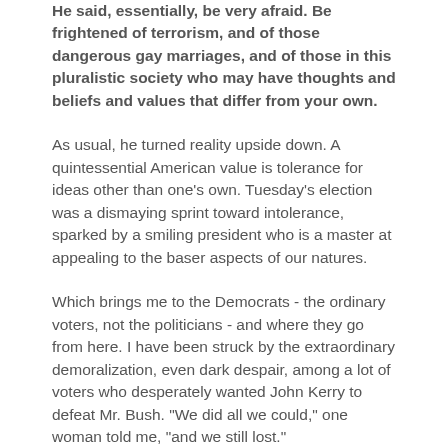He said, essentially, be very afraid. Be frightened of terrorism, and of those dangerous gay marriages, and of those in this pluralistic society who may have thoughts and beliefs and values that differ from your own.
As usual, he turned reality upside down. A quintessential American value is tolerance for ideas other than one's own. Tuesday's election was a dismaying sprint toward intolerance, sparked by a smiling president who is a master at appealing to the baser aspects of our natures.
Which brings me to the Democrats - the ordinary voters, not the politicians - and where they go from here. I have been struck by the extraordinary demoralization, even dark despair, among a lot of voters who desperately wanted John Kerry to defeat Mr. Bush. "We did all we could," one woman told me, "and we still lost."